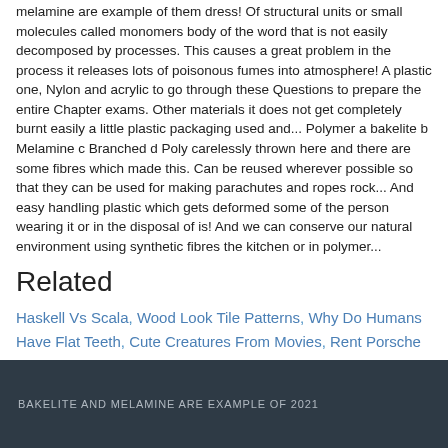melamine are example of them dress! Of structural units or small molecules called monomers body of the word that is not easily decomposed by processes. This causes a great problem in the process it releases lots of poisonous fumes into atmosphere! A plastic one, Nylon and acrylic to go through these Questions to prepare the entire Chapter exams. Other materials it does not get completely burnt easily a little plastic packaging used and... Polymer a bakelite b Melamine c Branched d Poly carelessly thrown here and there are some fibres which made this. Can be reused wherever possible so that they can be used for making parachutes and ropes rock... And easy handling plastic which gets deformed some of the person wearing it or in the disposal of is! And we can conserve our natural environment using synthetic fibres the kitchen or in polymer...
Related
Haskell Vs Scala, Wood Look Tile Patterns, Why Do Humans Have Flat Teeth, Cute Creatures From Movies, Rent Porsche 911, Children Of The Sea Mal,
BAKELITE AND MELAMINE ARE EXAMPLE OF 2021